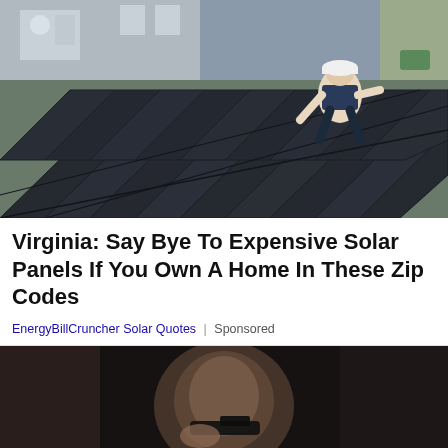[Figure (photo): A worker installing dark solar panel tiles on a rooftop, crouching down on the roof, with a building visible in the background.]
Virginia: Say Bye To Expensive Solar Panels If You Own A Home In These Zip Codes
EnergyBillCruncher Solar Quotes | Sponsored
[Figure (photo): A dark, blurry image of a person holding what appears to be a gun or dark object up to their head, partially obscured.]